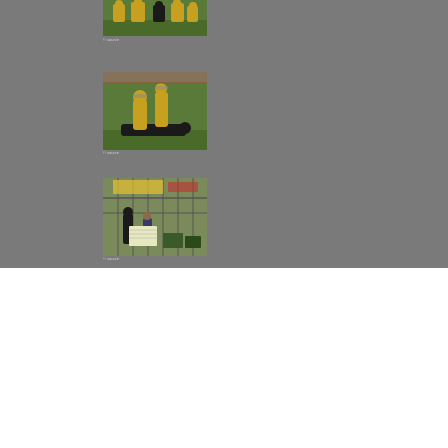[Figure (photo): American football game action photo — players on field, partial view at top of page]
[Figure (photo): American football game photo — players tackling on green field, mid-page]
[Figure (photo): American football sideline/bench area photo with spectators behind fence]
We use cookies on our website to give you the most relevant experience by remembering your preferences and repeat visits. By clicking “Accept”, you consent to the use of ALL the cookies.
Cookie settings
ACCEPT